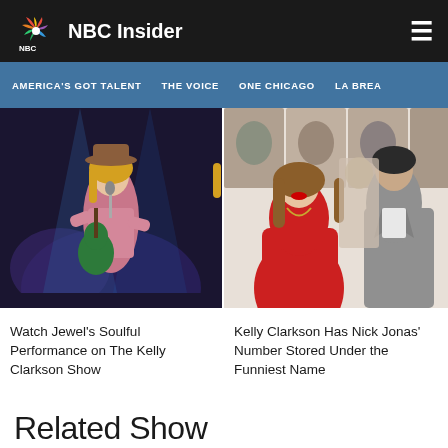NBC Insider
AMERICA'S GOT TALENT  THE VOICE  ONE CHICAGO  LA BREA
[Figure (photo): Singer Jewel performing on stage wearing a pink outfit and cowboy hat, playing a green guitar under blue stage lights]
[Figure (photo): Kelly Clarkson in a red dress posing with Nick Jonas in a grey suit at a media event with photo backdrop]
Watch Jewel's Soulful Performance on The Kelly Clarkson Show
Kelly Clarkson Has Nick Jonas' Number Stored Under the Funniest Name
Related Show